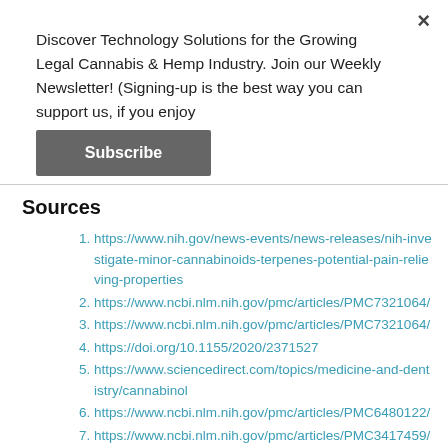Discover Technology Solutions for the Growing Legal Cannabis & Hemp Industry. Join our Weekly Newsletter! (Signing-up is the best way you can support us, if you enjoy
Subscribe
Sources
https://www.nih.gov/news-events/news-releases/nih-investigate-minor-cannabinoids-terpenes-potential-pain-relieving-properties
https://www.ncbi.nlm.nih.gov/pmc/articles/PMC7321064/
https://www.ncbi.nlm.nih.gov/pmc/articles/PMC7321064/
https://doi.org/10.1155/2020/2371527
https://www.sciencedirect.com/topics/medicine-and-dentistry/cannabinol
https://www.ncbi.nlm.nih.gov/pmc/articles/PMC6480122/
https://www.ncbi.nlm.nih.gov/pmc/articles/PMC3417459/